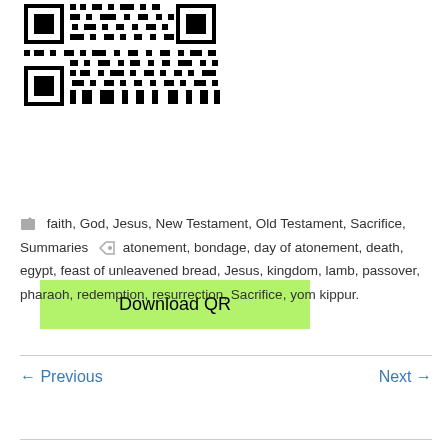[Figure (other): QR code image in black and white]
Download QR
faith, God, Jesus, New Testament, Old Testament, Sacrifice, Summaries    atonement, bondage, day of atonement, death, egypt, feast of unleavened bread, Jesus, kingdom, lamb, passover, pharaoh, redemption, resurrection, Sacrifice, yom kippur.
← Previous    Next →